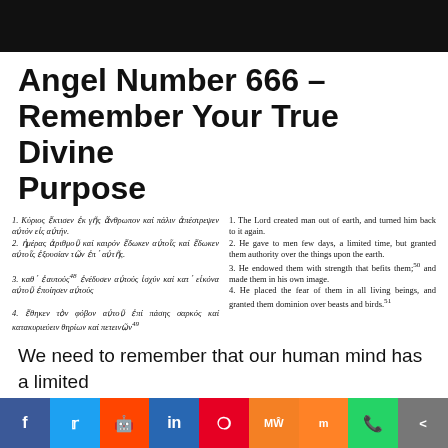[Figure (other): Black header bar at top of page]
Angel Number 666 – Remember Your True Divine Purpose
1. Κύριος ἔκτισεν ἐκ γῆς ἄνθρωπον καί πάλιν ἀπέστρεψεν αὐτόν εἰς αὐτήν.
2. ἡμέρας ἀριθμοῦ καί καιρόν ἔδωκεν αὐτοῖς καί ἔδωκεν αὐτοῖς ἐξουσίαν τῶν ἐπ᾽ αὐτῆς.
3. καθ᾽ ἑαυτούς⁴⁸ ἐνέδυσεν αὐτούς ἰσχύν καί κατ᾽ εἰκόνα αὐτοῦ ἐποίησεν αὐτούς
4. ἔθηκεν τὸν φόβον αὐτοῦ ἐπί πάσης σαρκός καί κατακυριεύειν θηρίων καί πετεινῶν⁴⁹
1. The Lord created man out of earth, and turned him back to it again.
2. He gave to men few days, a limited time, but granted them authority over the things upon the earth.
3. He endowed them with strength that befits them;⁵⁰ and made them in his own image.
4. He placed the fear of them in all living beings, and granted them dominion over beasts and birds.⁵¹
We need to remember that our human mind has a limited
perception of the spiritual realities
[Figure (other): Social media sharing bar with Facebook, Twitter, Reddit, LinkedIn, Pinterest, MeWe, Mix, WhatsApp, share buttons]